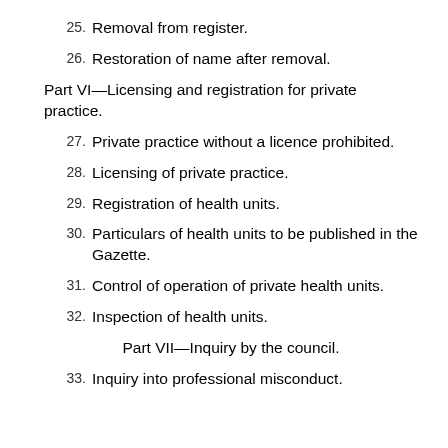25. Removal from register.
26. Restoration of name after removal.
Part VI—Licensing and registration for private practice.
27. Private practice without a licence prohibited.
28. Licensing of private practice.
29. Registration of health units.
30. Particulars of health units to be published in the Gazette.
31. Control of operation of private health units.
32. Inspection of health units.
Part VII—Inquiry by the council.
33. Inquiry into professional misconduct.